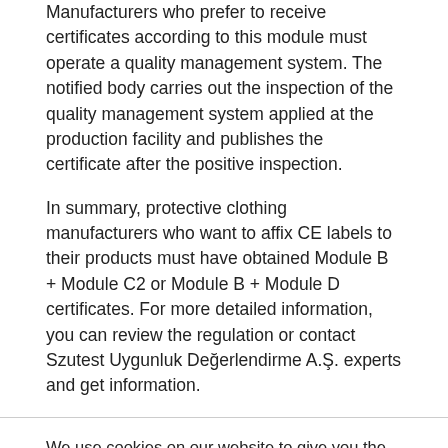Manufacturers who prefer to receive certificates according to this module must operate a quality management system. The notified body carries out the inspection of the quality management system applied at the production facility and publishes the certificate after the positive inspection.
In summary, protective clothing manufacturers who want to affix CE labels to their products must have obtained Module B + Module C2 or Module B + Module D certificates. For more detailed information, you can review the regulation or contact Szutest Uygunluk Değerlendirme A.Ş. experts and get information.
We use cookies on our website to give you the most relevant experience by remembering your preferences and repeat visits. By clicking "Accept All", you consent to the use of ALL the cookies. However, you may visit "Cookie Settings" to provide a controlled consent. Learn more